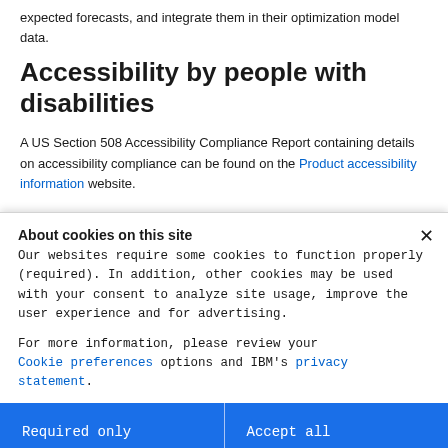expected forecasts, and integrate them in their optimization model data.
Accessibility by people with disabilities
A US Section 508 Accessibility Compliance Report containing details on accessibility compliance can be found on the Product accessibility information website.
About cookies on this site
Our websites require some cookies to function properly (required). In addition, other cookies may be used with your consent to analyze site usage, improve the user experience and for advertising.
For more information, please review your Cookie preferences options and IBM's privacy statement.
Required only
Accept all